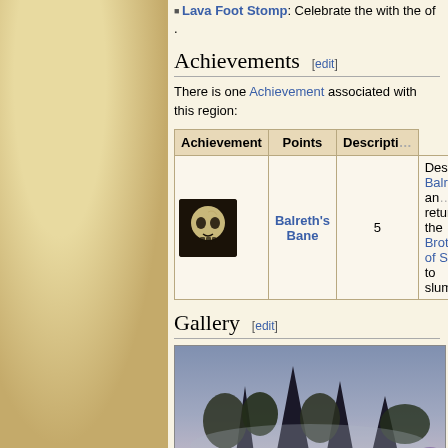Lava Foot Stomp: Celebrate the with the of .
Achievements [edit]
There is one Achievement associated with this region:
| Achievement | Points | Description |
| --- | --- | --- |
| [skull icon] / Balreth's Bane | 5 | Destroy Balreth and return the Brother of Strife to slumber. |
Gallery [edit]
[Figure (screenshot): A dark, atmospheric screenshot showing spire-like structures with trees in a misty environment.]